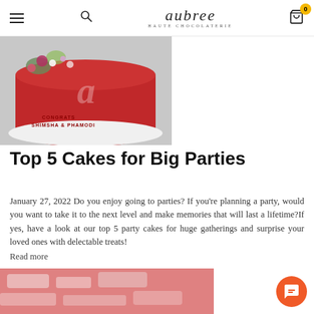Aubree Haute Chocolaterie – navigation bar with hamburger menu, search, logo, and cart (0 items)
[Figure (photo): Close-up of a red cake with floral decorations and white frosting text reading 'CONGRATS SHIMSHA & PHAMODI']
Top 5 Cakes for Big Parties
January 27, 2022 Do you enjoy going to parties? If you're planning a party, would you want to take it to the next level and make memories that will last a lifetime?If yes, have a look at our top 5 party cakes for huge gatherings and surprise your loved ones with delectable treats!
Read more
[Figure (photo): Blurred close-up photo of red and white decorated items, possibly wrapped chocolates or confectionery]